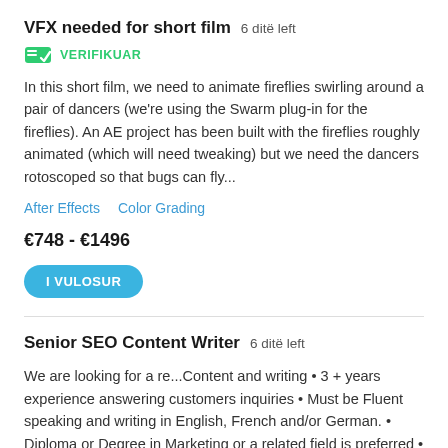VFX needed for short film  6 ditë left
VERIFIKUAR
In this short film, we need to animate fireflies swirling around a pair of dancers (we're using the Swarm plug-in for the fireflies). An AE project has been built with the fireflies roughly animated (which will need tweaking) but we need the dancers rotoscoped so that bugs can fly...
After Effects   Color Grading
€748 - €1496
I VULOSUR
Senior SEO Content Writer  6 ditë left
We are looking for a re...Content and writing • 3 + years experience answering customers inquiries • Must be Fluent speaking and writing in English, French and/or German. • Diploma or Degree in Marketing or a related field is preferred • Expert knowledge of SEO • Previous